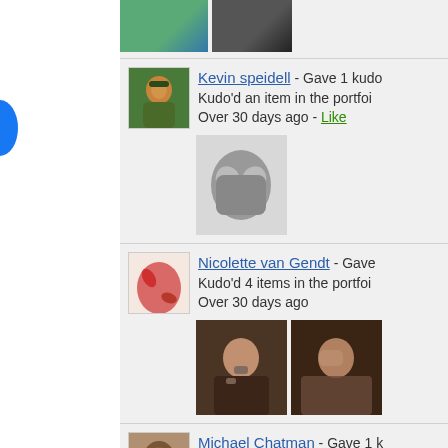[Figure (photo): Top thumbnail images - landscape and dark textured photo]
Kevin speidell - Gave 1 kudo
Kudo'd an item in the portfolio
Over 30 days ago - Like
[Figure (photo): Avatar of Kevin speidell - illustrated warrior character]
[Figure (photo): Artwork thumbnail - mechanical/tentacle design in black and white]
Nicolette van Gendt - Gave
Kudo'd 4 items in the portfolio
Over 30 days ago
[Figure (photo): Avatar of Nicolette van Gendt - red illustrated character]
[Figure (photo): Two thumbnail photos of a man with mustache]
Michael Chatman - Gave 1 k
Kudo'd an item in the portfolio
Over 30 days ago - Like
[Figure (photo): Avatar of Michael Chatman - photo of a man smiling]
[Figure (photo): Thumbnail photo of a man with a drink]